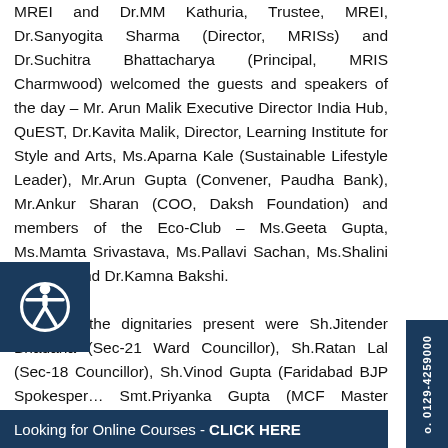MREI and Dr.MM Kathuria, Trustee, MREI, Dr.Sanyogita Sharma (Director, MRISs) and Dr.Suchitra Bhattacharya (Principal, MRIS Charmwood) welcomed the guests and speakers of the day – Mr. Arun Malik Executive Director India Hub, QuEST, Dr.Kavita Malik, Director, Learning Institute for Style and Arts, Ms.Aparna Kale (Sustainable Lifestyle Leader), Mr.Arun Gupta (Convener, Paudha Bank), Mr.Ankur Sharan (COO, Daksh Foundation) and members of the Eco-Club – Ms.Geeta Gupta, Ms.Mamta Srivastava, Ms.Pallavi Sachan, Ms.Shalini Agarwal and Dr.Kamna Bakshi.
Some of the dignitaries present were Sh.Jitender Bhadana (Sec-21 Ward Councillor), Sh.Ratan Lal (Sec-18 Councillor), Sh.Vinod Gupta (Faridabad BJP Spokesperson), Smt.Priyanka Gupta (MCF Master Trainer) and Smt.Promila Joshi (Vice-President, BJP Haryana Women) at Badkhal Road
Looking for Online Courses - CLICK HERE
0129-4259000